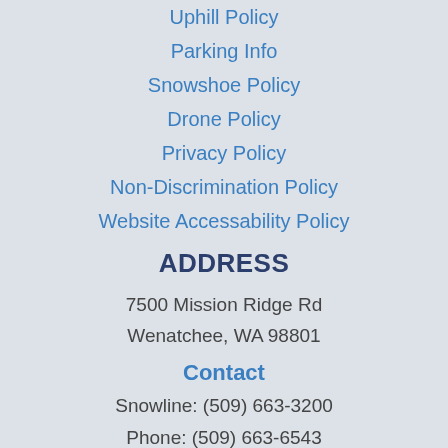Uphill Policy
Parking Info
Snowshoe Policy
Drone Policy
Privacy Policy
Non-Discrimination Policy
Website Accessability Policy
ADDRESS
7500 Mission Ridge Rd
Wenatchee, WA 98801
Contact
Snowline: (509) 663-3200
Phone: (509) 663-6543
Email: info@missionridge.com
Employment Info
NEWSLETTER SIGN UP
Get powder alerts or just keep track of what's going on at Mission Ridge.